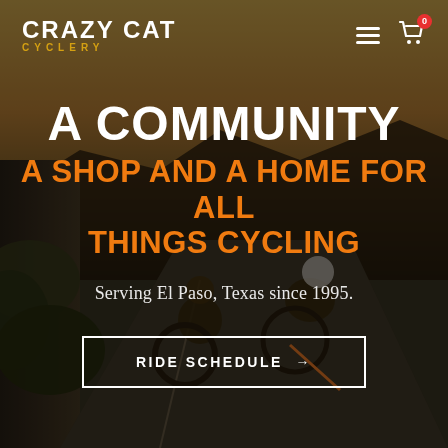[Figure (photo): Two cyclists in orange and white cycling gear riding road bikes along a mountain road at dusk, with stone walls and foliage visible on the left side. Warm sunset light in the background.]
CRAZY CAT CYCLERY
A COMMUNITY
A SHOP AND A HOME FOR ALL THINGS CYCLING
Serving El Paso, Texas since 1995.
RIDE SCHEDULE →